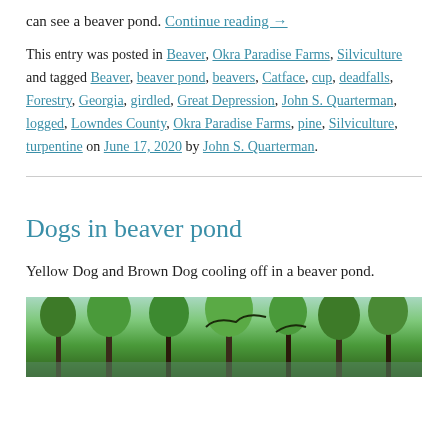can see a beaver pond. Continue reading →
This entry was posted in Beaver, Okra Paradise Farms, Silviculture and tagged Beaver, beaver pond, beavers, Catface, cup, deadfalls, Forestry, Georgia, girdled, Great Depression, John S. Quarterman, logged, Lowndes County, Okra Paradise Farms, pine, Silviculture, turpentine on June 17, 2020 by John S. Quarterman.
Dogs in beaver pond
Yellow Dog and Brown Dog cooling off in a beaver pond.
[Figure (photo): Photograph of a beaver pond area with green trees and forest vegetation visible from above/through the canopy.]